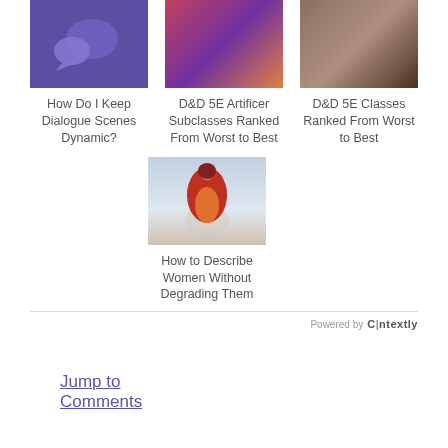[Figure (illustration): Purple background with speech bubble icons]
[Figure (illustration): Fantasy artwork showing a person in ornate clothing with purple/orange tones]
[Figure (illustration): Fantasy artwork showing multiple armored warriors]
How Do I Keep Dialogue Scenes Dynamic?
D&D 5E Artificer Subclasses Ranked From Worst to Best
D&D 5E Classes Ranked From Worst to Best
[Figure (photo): Woman in red cape/cloak standing in a snowy scene]
How to Describe Women Without Degrading Them
Powered by Contextly
Jump to Comments